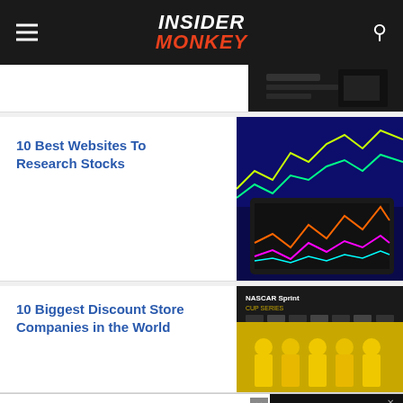INSIDER MONKEY
[Figure (photo): Partial view of a dark tech/keyboard image, cropped at top of page]
10 Best Websites To Research Stocks
[Figure (photo): Stock market charts on a tablet and screen with colorful lines, blue background]
10 Biggest Discount Store Companies in the World
[Figure (photo): NASCAR Sprint Cup Series backdrop with people in yellow uniforms]
Hack the Political System.
[Figure (screenshot): CrowdVote.IO advertisement with dark background]